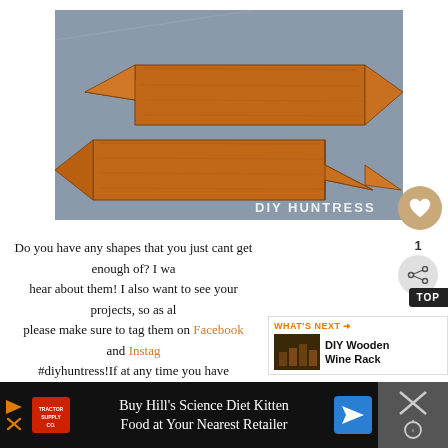[Figure (photo): Two large wooden arrow shapes mounted on a gray wall, one pointing left and one pointing right. Watermark 'DIY HUNTRESS' in bottom right corner. Photo from DIY Huntress blog.]
Do you have any shapes that you just cant get enough of? I wa hear about them! I also want to see your projects, so as al please make sure to tag them on Facebook and Instag #diyhuntress!If at any time you have questions ab or any others, feel free to email me at
[Figure (screenshot): UI overlay elements: heart/favorite button (tan circle), share count '1', share icon (circle with network icon), TOP badge (dark), WHAT'S NEXT arrow label with thumbnail and text 'DIY Wooden Wine Rack']
[Figure (photo): Advertisement bar at bottom: Tractor Supply Co logo, text 'Buy Hill's Science Diet Kitten Food at Your Nearest Retailer', blue arrow button, and a dark panel on the right with an X and temperature icon.]